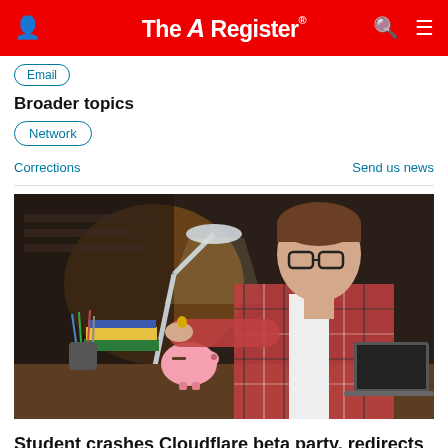The Register
Email
Broader topics
Network
Corrections   Send us news
[Figure (photo): Young man wearing glasses and a plaid shirt putting a coin into a pink piggy bank on a desk with books, pens, and a laptop, under a desk lamp in a dimly lit room.]
Student crashes Cloudflare beta party, redirects